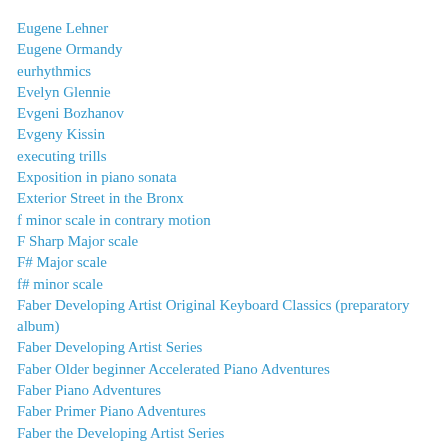Eugene Lehner
Eugene Ormandy
eurhythmics
Evelyn Glennie
Evgeni Bozhanov
Evgeny Kissin
executing trills
Exposition in piano sonata
Exterior Street in the Bronx
f minor scale in contrary motion
F Sharp Major scale
F# Major scale
f# minor scale
Faber Developing Artist Original Keyboard Classics (preparatory album)
Faber Developing Artist Series
Faber Older beginner Accelerated Piano Adventures
Faber Piano Adventures
Faber Primer Piano Adventures
Faber the Developing Artist Series
Face Time